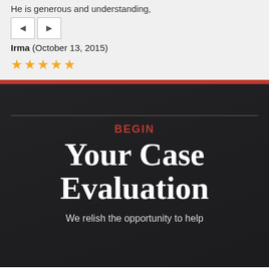He is generous and understanding,
Irma (October 13, 2015)
[Figure (other): Navigation buttons with left and right arrows]
★★★★★
BEGIN
Your Case Evaluation
We relish the opportunity to help